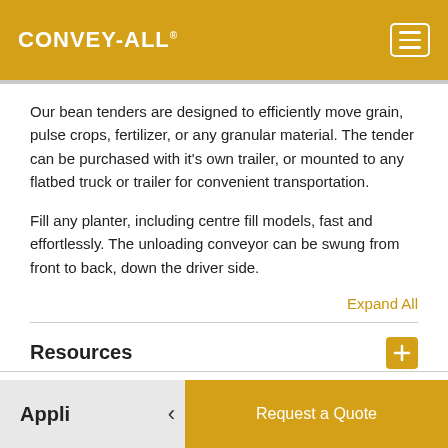CONVEY-ALL
Our bean tenders are designed to efficiently move grain, pulse crops, fertilizer, or any granular material. The tender can be purchased with it's own trailer, or mounted to any flatbed truck or trailer for convenient transportation.
Fill any planter, including centre fill models, fast and effortlessly. The unloading conveyor can be swung from front to back, down the driver side.
Expand All
Resources
Features
Appli
Request a Quote